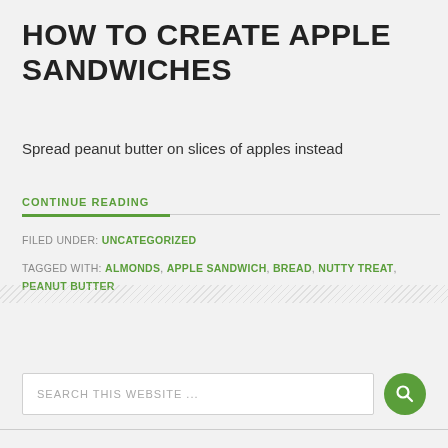HOW TO CREATE APPLE SANDWICHES
Spread peanut butter on slices of apples instead
CONTINUE READING
FILED UNDER: UNCATEGORIZED
TAGGED WITH: ALMONDS, APPLE SANDWICH, BREAD, NUTTY TREAT, PEANUT BUTTER
SEARCH THIS WEBSITE ...